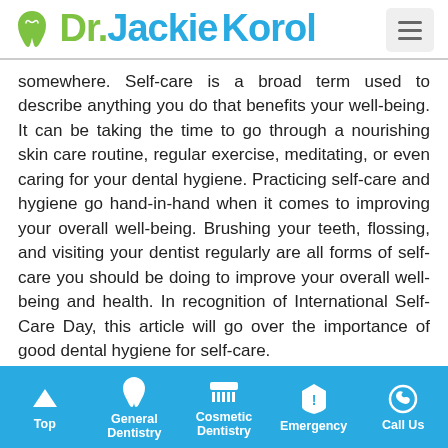Dr. Jackie Korol
somewhere. Self-care is a broad term used to describe anything you do that benefits your well-being. It can be taking the time to go through a nourishing skin care routine, regular exercise, meditating, or even caring for your dental hygiene. Practicing self-care and hygiene go hand-in-hand when it comes to improving your overall well-being. Brushing your teeth, flossing, and visiting your dentist regularly are all forms of self-care you should be doing to improve your overall well-being and health. In recognition of International Self-Care Day, this article will go over the importance of good dental hygiene for self-care.
Top | General Dentistry | Cosmetic Dentistry | Emergency | Call Us